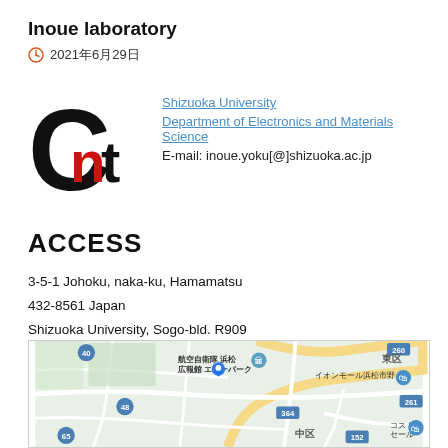Inoue laboratory
2021年6月29日
[Figure (logo): Nanotechnology lab logo with large 'C' and 'nt' letters in black and red]
Shizuoka University
Department of Electronics and Materials Science
E-mail: inoue.yoku[@]shizuoka.ac.jp
ACCESS
3-5-1 Johoku, naka-ku, Hamamatsu
432-8561 Japan
Shizuoka University, Sogo-bld. R909
[Figure (map): Google Maps view of Hamamatsu area near Shizuoka University showing roads, landmarks in Japanese including 航空自衛隊 浜松 広報館 エアーパーク, イオンモール浜松市野, 中区, 東区, route numbers 48, 65, 364, 48, 152, 261, 260]